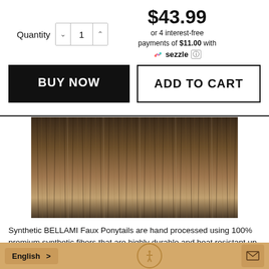$43.99
or 4 interest-free payments of $11.00 with Sezzle
Quantity 1
BUY NOW
ADD TO CART
[Figure (photo): Close-up of hair extensions showing brown/ash tones with straight fibers]
Synthetic BELLAMI Faux Ponytails are hand processed using 100% premium synthetic fibers that are highly durable and heat resistant up to 400F.
English >